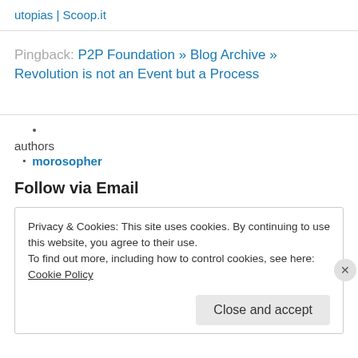utopias | Scoop.it
Pingback: P2P Foundation » Blog Archive » Revolution is not an Event but a Process
authors
morosopher
Follow via Email
Privacy & Cookies: This site uses cookies. By continuing to use this website, you agree to their use.
To find out more, including how to control cookies, see here: Cookie Policy
Close and accept